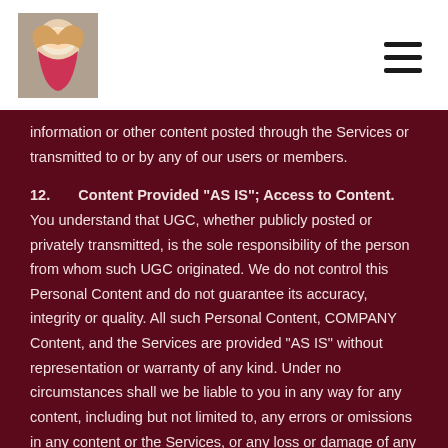[Logo image] [Hamburger menu icon]
information or other content posted through the Services or transmitted to or by any of our users or members.
12.   Content Provided "AS IS"; Access to Content.   You understand that UGC, whether publicly posted or privately transmitted, is the sole responsibility of the person from whom such UGC originated. We do not control this Personal Content and do not guarantee its accuracy, integrity or quality. All such Personal Content, COMPANY Content, and the Services are provided "AS IS" without representation or warranty of any kind. Under no circumstances shall we be liable to you in any way for any content, including but not limited to, any errors or omissions in any content or the Services, or any loss or damage of any kind incurred because of the use of any content or the Services. We claim immunity from liability to the fullest extent